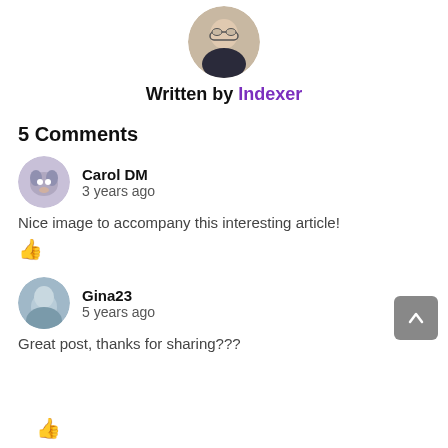[Figure (photo): Author avatar photo of a man with glasses and suit]
Written by Indexer
5 Comments
[Figure (photo): User avatar for Carol DM showing a cartoon donkey]
Carol DM
3 years ago
Nice image to accompany this interesting article!
[Figure (illustration): Purple thumbs up icon]
[Figure (photo): User avatar for Gina23 showing a person]
Gina23
5 years ago
Great post, thanks for sharing???
[Figure (illustration): Purple thumbs up icon (partially visible)]